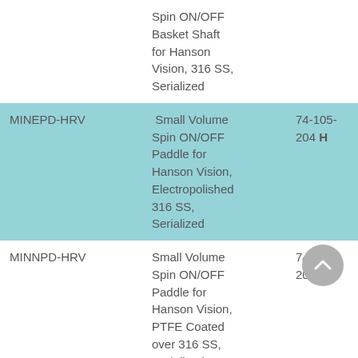| Model | Description | Part No. |
| --- | --- | --- |
|  | Spin ON/OFF Basket Shaft for Hanson Vision, 316 SS, Serialized |  |
| MINEPD-HRV | Small Volume Spin ON/OFF Paddle for Hanson Vision, Electropolished 316 SS, Serialized | 74-105-204 H |
| MINNPD-HRV | Small Volume Spin ON/OFF Paddle for Hanson Vision, PTFE Coated over 316 SS, Serialized | 74-105-203 H |
| NDT10-HR | 10" (254mm) Small Volume Spin ON/OFF | 74-105-050 H |